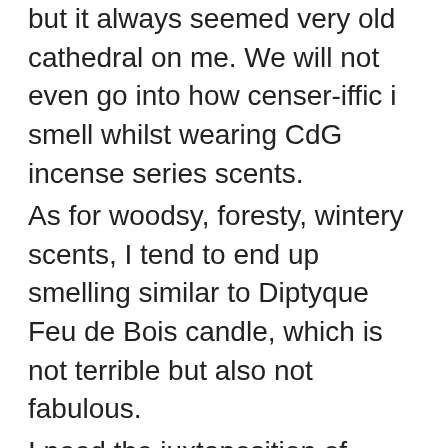but it always seemed very old cathedral on me. We will not even go into how censer-iffic i smell whilst wearing CdG incense series scents. As for woodsy, foresty, wintery scents, I tend to end up smelling similar to Diptyque Feu de Bois candle, which is not terrible but also not fabulous. I need the juxtaposition of brightness with heaviness, much in the way of classic parfumery; lot of bergamot in opening then a lot of richness and heaviness. It is funny how I felt reading about your walks in this frozen, snow covered wonderland that us winter. On the one hand it seemed so beautiful and inviting, on the other it struck me as so quiet and alone that it made me just want to stay cocooned in the warm house.